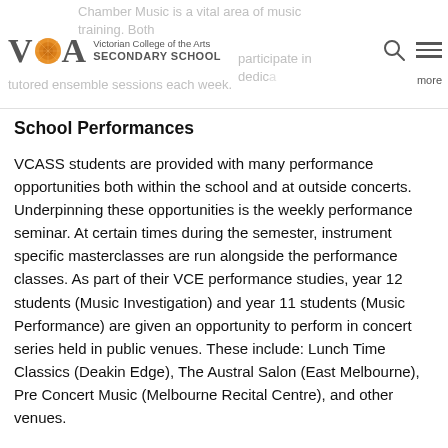Chamber Music is a vital area of music training. Both all students participate in dedicated tutored ensemble sessions each week.
[Figure (logo): Victorian College of the Arts Secondary School logo with V circle A monogram and text]
School Performances
VCASS students are provided with many performance opportunities both within the school and at outside concerts. Underpinning these opportunities is the weekly performance seminar. At certain times during the semester, instrument specific masterclasses are run alongside the performance classes. As part of their VCE performance studies, year 12 students (Music Investigation) and year 11 students (Music Performance) are given an opportunity to perform in concert series held in public venues. These include: Lunch Time Classics (Deakin Edge), The Austral Salon (East Melbourne), Pre Concert Music (Melbourne Recital Centre), and other venues.
Ensembles